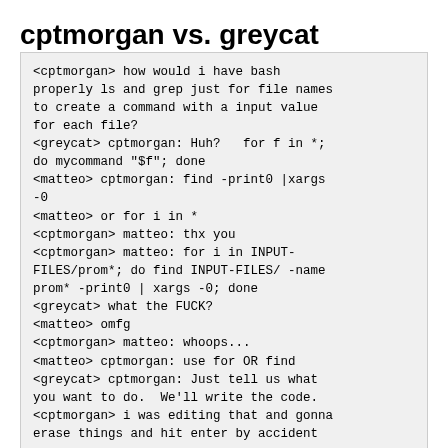cptmorgan vs. greycat
<cptmorgan> how would i have bash properly ls and grep just for file names to create a command with a input value for each file?
<greycat> cptmorgan: Huh?   for f in *; do mycommand "$f"; done
<matteo> cptmorgan: find -print0 |xargs -0
<matteo> or for i in *
<cptmorgan> matteo: thx you
<cptmorgan> matteo: for i in INPUT-FILES/prom*; do find INPUT-FILES/ -name prom* -print0 | xargs -0; done
<greycat> what the FUCK?
<matteo> omfg
<cptmorgan> matteo: whoops...
<matteo> cptmorgan: use for OR find
<greycat> cptmorgan: Just tell us what you want to do.  We'll write the code.
<cptmorgan> i was editing that and gonna erase things and hit enter by accident